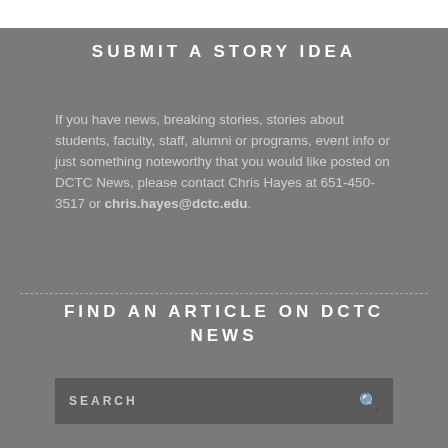SUBMIT A STORY IDEA
If you have news, breaking stories, stories about students, faculty, staff, alumni or programs, event info or just something noteworthy that you would like posted on DCTC News, please contact Chris Hayes at 651-450-3517 or chris.hayes@dctc.edu.
FIND AN ARTICLE ON DCTC NEWS
SEARCH